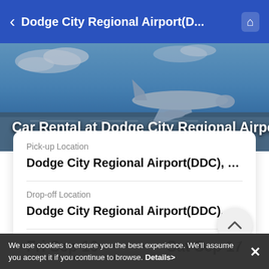< Dodge City Regional Airport(D... ⌂
[Figure (photo): Car rental page hero image showing an airport tarmac with aircraft and blue sky. Text overlay reads: Car Rental at Dodge City Regional Airport]
Car Rental at Dodge City Regional Airport
Pick-up Location
Dodge City Regional Airport(DDC), D...
Drop-off Location
Dodge City Regional Airport(DDC), D...
Fri Sep 16
Sat Sep 17
We use cookies to ensure you the best experience. We'll assume you accept it if you continue to browse. Details>